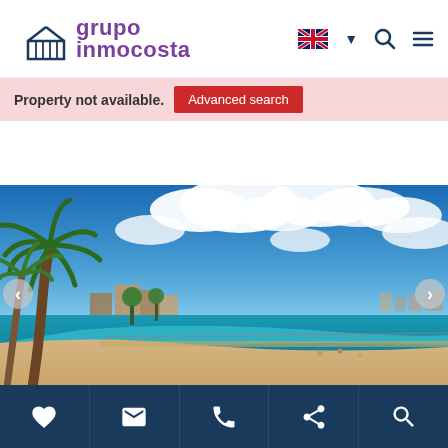[Figure (logo): Grupo Inmocosta logo with purple text and building/greenhouse icon]
Property not available.
Advanced search
[Figure (photo): Coastal beach scene with palm trees, blue sky with white clouds, sandy beach, and town in background]
[Figure (screenshot): Bottom navigation toolbar with heart, email, phone, share, and search icons on dark blue background]